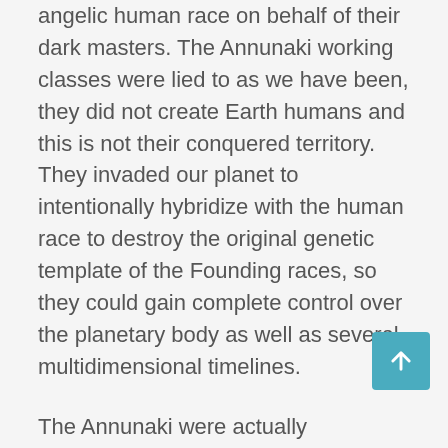angelic human race on behalf of their dark masters. The Annunaki working classes were lied to as we have been, they did not create Earth humans and this is not their conquered territory. They invaded our planet to intentionally hybridize with the human race to destroy the original genetic template of the Founding races, so they could gain complete control over the planetary body as well as several multidimensional timelines.
The Annunaki were actually genetically hybridized with captured or cloned Elohim lines from Lyra and then bred millions of years ago by fallen matrix Wesan invaders to destroy the original angelic race lines. Thus, the Annunaki were bred to kill something that exists inside of them genetically, as